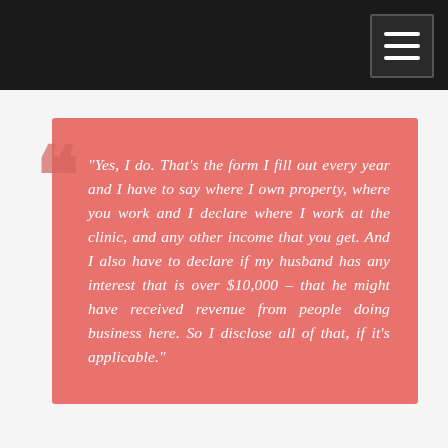[Figure (other): Dark top navigation bar with hamburger menu button in top-right corner]
“Yes, I do. That’s the form I fill out every year and I have to say where I own property, where you work and I declare where I work at the clinic, and any other income that you get. And I also have to declare if my husband has any interest that is over $10,000 – that he might have received revenue from people doing business here. So I disclose all of that, if it’s applicable.”